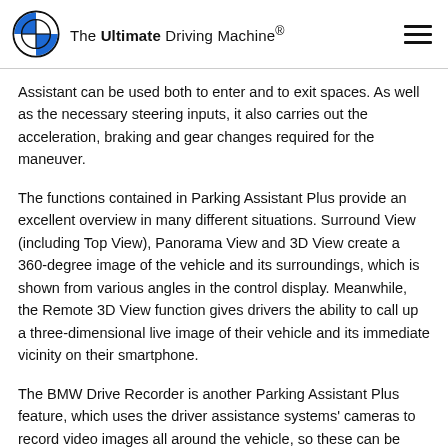The Ultimate Driving Machine®
Assistant can be used both to enter and to exit spaces. As well as the necessary steering inputs, it also carries out the acceleration, braking and gear changes required for the maneuver.
The functions contained in Parking Assistant Plus provide an excellent overview in many different situations. Surround View (including Top View), Panorama View and 3D View create a 360-degree image of the vehicle and its surroundings, which is shown from various angles in the control display. Meanwhile, the Remote 3D View function gives drivers the ability to call up a three-dimensional live image of their vehicle and its immediate vicinity on their smartphone.
The BMW Drive Recorder is another Parking Assistant Plus feature, which uses the driver assistance systems' cameras to record video images all around the vehicle, so these can be stored and later either played back on the control display when